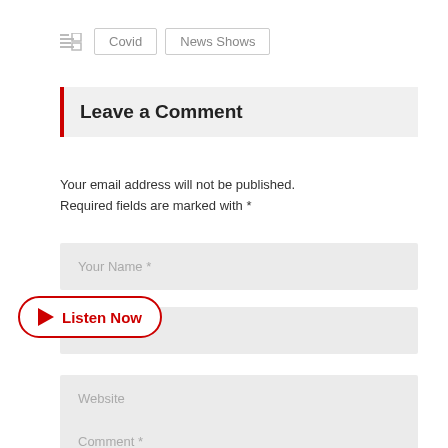[Figure (screenshot): Navigation tag buttons: an icon followed by 'Covid' and 'News Shows' tab buttons]
Leave a Comment
Your email address will not be published. Required fields are marked with *
Your Name *
[Figure (other): Listen Now button overlay with red play triangle and red border]
ail *
Website
Comment *